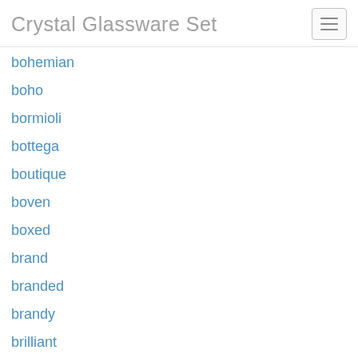Crystal Glassware Set
bohemian
boho
bormioli
bottega
boutique
boven
boxed
brand
branded
brandy
brilliant
bristol